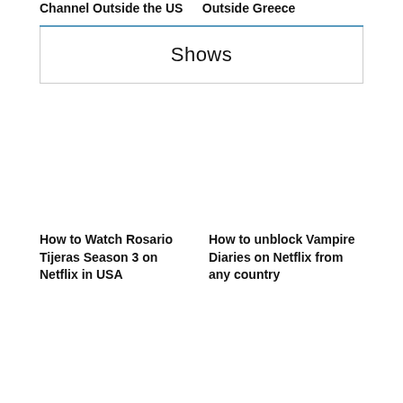Channel Outside the US
Outside Greece
Shows
How to Watch Rosario Tijeras Season 3 on Netflix in USA
How to unblock Vampire Diaries on Netflix from any country